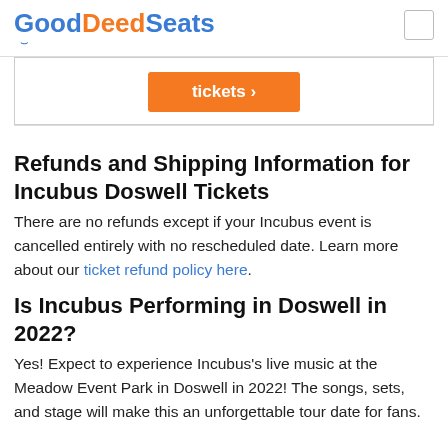GoodDeedSeats
[Figure (other): Orange button partially visible with text 'tickets >' inside a bordered box]
Refunds and Shipping Information for Incubus Doswell Tickets
There are no refunds except if your Incubus event is cancelled entirely with no rescheduled date. Learn more about our ticket refund policy here.
Is Incubus Performing in Doswell in 2022?
Yes! Expect to experience Incubus's live music at the Meadow Event Park in Doswell in 2022! The songs, sets, and stage will make this an unforgettable tour date for fans.